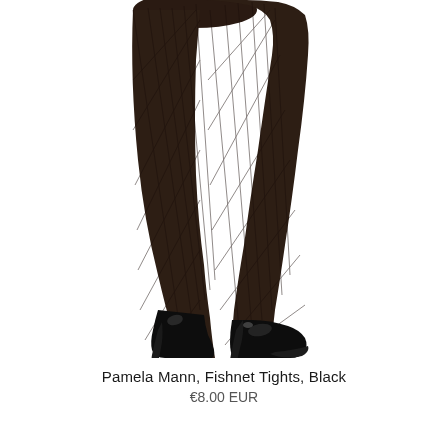[Figure (photo): A model's legs wearing black fishnet tights and black patent stiletto high heel pumps, photographed against a white background. The legs are crossed at the ankle.]
Pamela Mann, Fishnet Tights, Black
€8.00 EUR